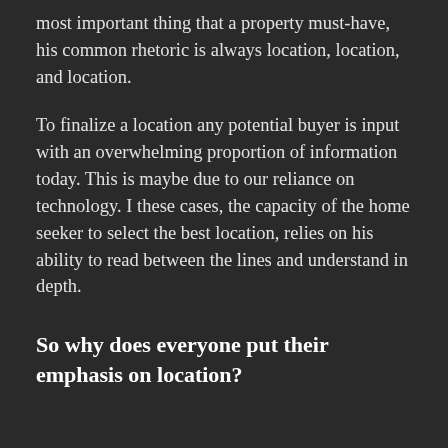most important thing that a property must-have, his common rhetoric is always location, location, and location.
To finalize a location any potential buyer is input with an overwhelming proportion of information today. This is maybe due to our reliance on technology. I these cases, the capacity of the home seeker to select the best location, relies on his ability to read between the lines and understand in depth.
So why does everyone put their emphasis on location?